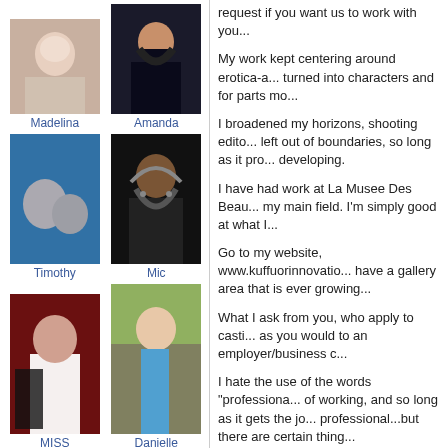[Figure (photo): Photo of Madelina]
Madelina
[Figure (photo): Photo of Amanda]
Amanda
[Figure (photo): Photo of Timothy]
Timothy
[Figure (photo): Photo of Mic]
Mic
[Figure (photo): Photo of MISS]
MISS
[Figure (photo): Photo of Danielle]
Danielle
View All Friends (89)
request if you want us to work with you...
My work kept centering around erotica-a... turned into characters and for parts mo...
I broadened my horizons, shooting edito... left out of boundaries, so long as it pro... developing.
I have had work at La Musee Des Beau... my main field. I'm simply good at what I...
Go to my website, www.kuffuorinnovatio... have a gallery area that is ever growing...
What I ask from you, who apply to casti... as you would to an employer/business c...
I hate the use of the words "professiona... of working, and so long as it gets the jo... professional...but there are certain thing...
I no longer book outside of agency mo... have friends who are also working acto... can use a break, and so-occasionally-I'l...